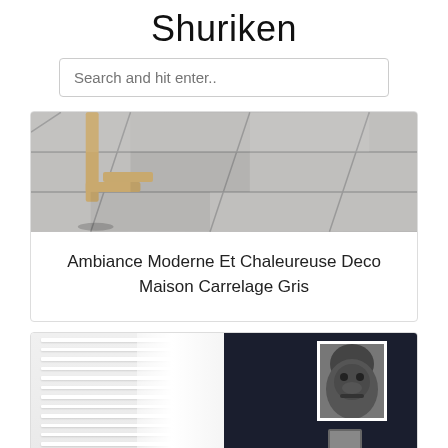Shuriken
Search and hit enter..
[Figure (photo): Interior floor photo showing large grey tiles with wooden furniture leg visible]
Ambiance Moderne Et Chaleureuse Deco Maison Carrelage Gris
[Figure (photo): Split bathroom/room photo: left side shows white louvered shutters and white curtain; right side shows dark navy wall with gorilla artwork and a small framed picture]